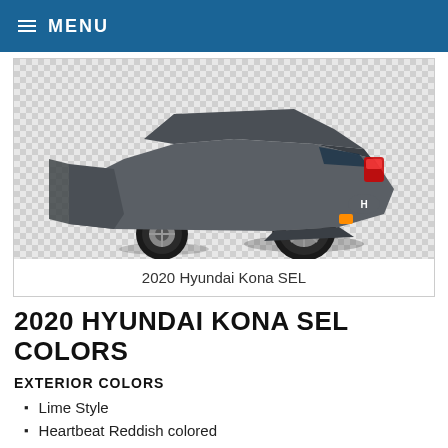≡ MENU
[Figure (photo): Rear three-quarter view of a 2020 Hyundai Kona SEL in gray, with doors open, shown on a checkered background.]
2020 Hyundai Kona SEL
2020 HYUNDAI KONA SEL COLORS
EXTERIOR COLORS
Lime Style
Heartbeat Reddish colored
Heartbeat Red-colored w/Black Rooftop